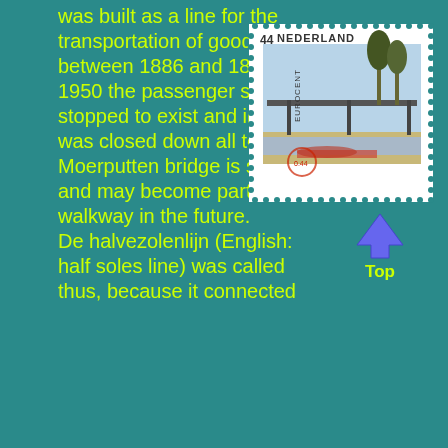was built as a line for the transportation of goods between 1886 and 1890. In 1950 the passenger service stopped to exist and in 1972 it was closed down all together. Moerputten bridge is still there and may become part of a walkway in the future.
De halvezolenlijn (English: half soles line) was called thus, because it connected
[Figure (illustration): A Netherlands postage stamp showing '44 EUROCENT NEDERLAND' with an image of a bridge structure over water with vegetation]
[Figure (other): A blue upward-pointing arrow button labeled 'Top']